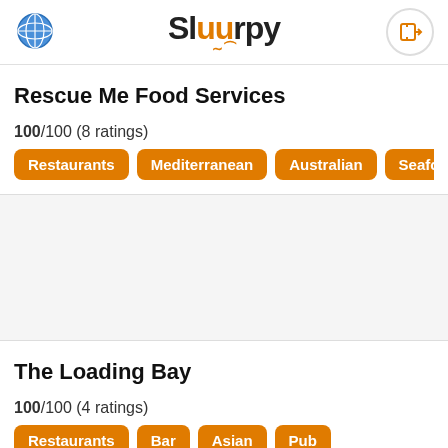Sluurpy
Rescue Me Food Services
100/100 (8 ratings)
Restaurants | Mediterranean | Australian | Seafood | Lunc
[Figure (photo): Image placeholder / restaurant photo area]
The Loading Bay
100/100 (4 ratings)
Restaurants | Bar | Asian | Pub